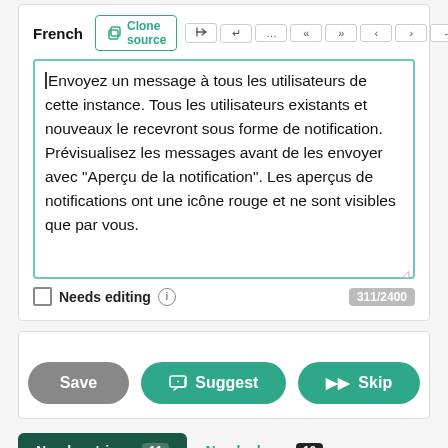French
Envoyez un message à tous les utilisateurs de cette instance. Tous les utilisateurs existants et nouveaux le recevront sous forme de notification.
Prévisualisez les messages avant de les envoyer avec "Aperçu de la notification". Les aperçus de notifications ont une icône rouge et ne sont visibles que par vous.
Needs editing  311/2400
Save  Suggest  Skip
Nearby strings 11  Nearby keys 10
Other languages  History